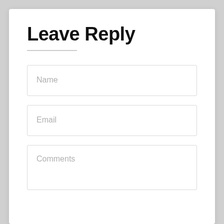Leave Reply
Name
Email
Comments